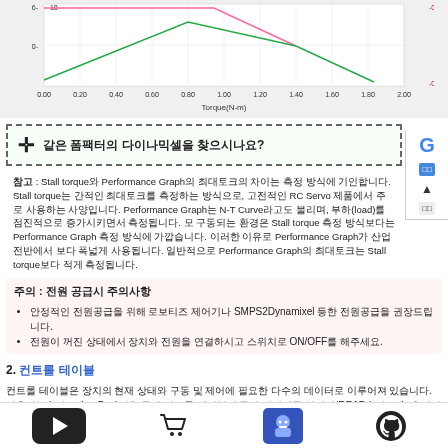[Figure (continuous-plot): Torque vs Speed/Current/Power performance graph with x-axis Torque(N-m) from 0.00 to 2.00, showing multiple curves. Y-axis left shows values 0- to 6-, y-axis right shows -0.14 to -0.00.]
같은 폼팩터의 다이나믹셀을 찾으시나요?
참고 : Stall torque와 Performance Graph의 최대토크의 차이는 측정 방식에 기인합니다. Stall torque는 간적인 최대토크를 측정하는 방식으로, 고전적인 RC Servo 제품에서 주로 사용하는 사양입니다. Performance Graph는 N-T Curve라고도 불리며, 부하(load)를 점진적으로 증가시키면서 측정됩니다. 모 구동되는 환경은 Stall torque 측정 방식보다는 Performance Graph 측정 방식에 가깝습니다. 이러한 이유로 Performance Graph가 산업전반에서 보다 폭넓게 사용됩니다. 일반적으로 Performance Graph의 최대토크는 Stall torque보다 적게 측정됩니다.
주의 : 전원 공급시 주의사항
안정적인 전원공급을 위해 로보티즈 제어기나 SMPS2Dynamixel 등한 전원공급을 권장드립니다.
전원이 꺼진 상태에서 장치와 전원을 연결하시고 스위치로 ON/OFF를 해주세요.
2. 컨트롤 테이블
컨트롤 테이블은 장치의 현재 상태와 구동 및 제어에 필요한 다수의 데이터로 이루어져 있습니다. 사용자는 Instruction Packet을 통해 컨트롤 테이블의 특정 데이터를 읽어서(READ Instruction) 장치의 상태를 파악할 수 있고, 데이터를 변경함으로써(WRITE Instruction) 장치를 제어할 수 있습니다.
Footer navigation bar with play, cart, robot, and github icons